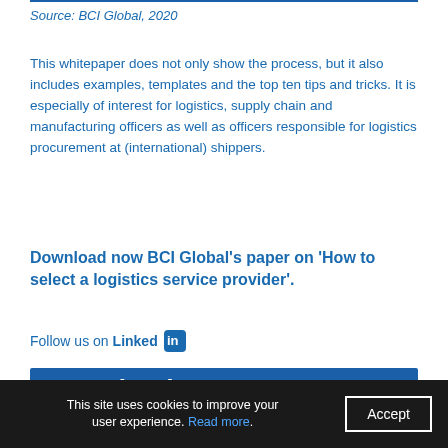Source: BCI Global, 2020
This whitepaper does not only show the process, but it also includes examples, templates and the top ten tips and tricks. It is especially of interest for logistics, supply chain and manufacturing officers as well as officers responsible for logistics procurement at (international) shippers.
Download now BCI Global’s paper on ‘How to select a logistics service provider’.
Follow us on LinkedIn
[Figure (other): Download request blue banner section partially visible]
This site uses cookies to improve your user experience. Read more. Accept